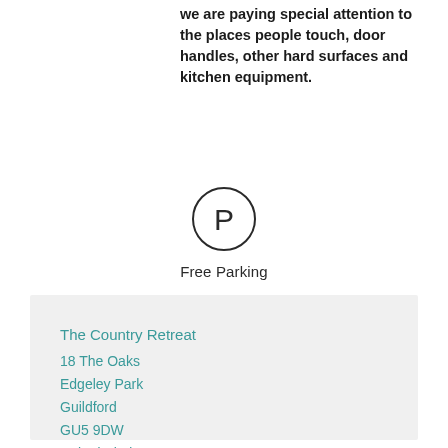we are paying special attention to the places people touch, door handles, other hard surfaces and kitchen equipment.
[Figure (illustration): Circle icon with letter P inside, representing parking]
Free Parking
The Country Retreat
18 The Oaks
Edgeley Park
Guildford
GU5 9DW
United Kindgom
E:   info@countryretreat-surreyhills.co.uk
M:   07533 818415